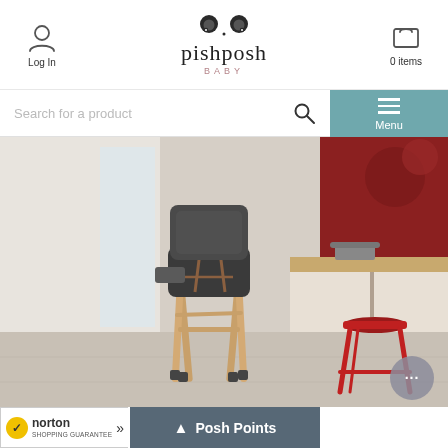Log In | pishposh BABY | 0 items
Search for a product
Menu
[Figure (photo): Baby high chair with wooden legs and dark seat with harness, next to a kitchen island counter with a red stool, red accent wall in background. Modern kitchen setting.]
...
[Figure (logo): Norton Shopping Guarantee badge with yellow checkmark circle]
norton SHOPPING GUARANTEE
Posh Points